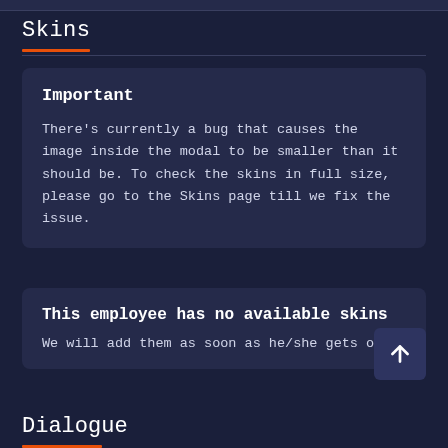Skins
Important

There's currently a bug that causes the image inside the modal to be smaller than it should be. To check the skins in full size, please go to the Skins page till we fix the issue.
This employee has no available skins

We will add them as soon as he/she gets one!
Dialogue